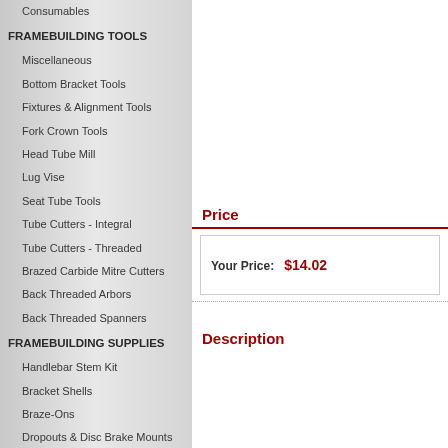Consumables
FRAMEBUILDING TOOLS
Miscellaneous
Bottom Bracket Tools
Fixtures & Alignment Tools
Fork Crown Tools
Head Tube Mill
Lug Vise
Seat Tube Tools
Tube Cutters - Integral
Tube Cutters - Threaded
Brazed Carbide Mitre Cutters
Back Threaded Arbors
Back Threaded Spanners
FRAMEBUILDING SUPPLIES
Handlebar Stem Kit
Bracket Shells
Braze-Ons
Dropouts & Disc Brake Mounts
Fork Crowns
Front Derailleur Boss
Price
Your Price: $14.02
Description